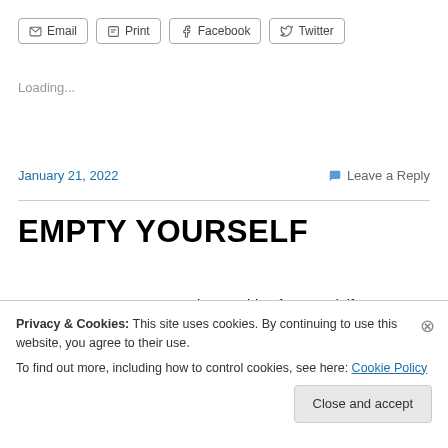Email | Print | Facebook | Twitter
Loading...
January 21, 2022   Leave a Reply
EMPTY YOURSELF
How can you expect to receive anything from God, if your
Privacy & Cookies: This site uses cookies. By continuing to use this website, you agree to their use. To find out more, including how to control cookies, see here: Cookie Policy
Close and accept